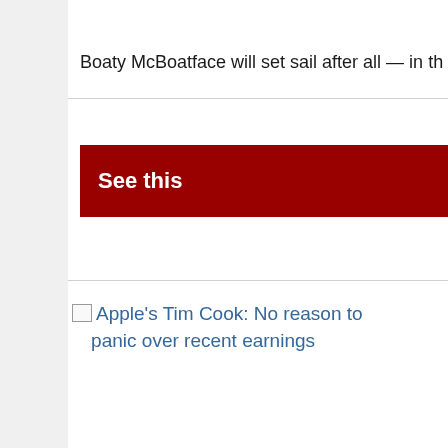Boaty McBoatface will set sail after all — in th
See this
Apple's Tim Cook: No reason to panic over recent earnings